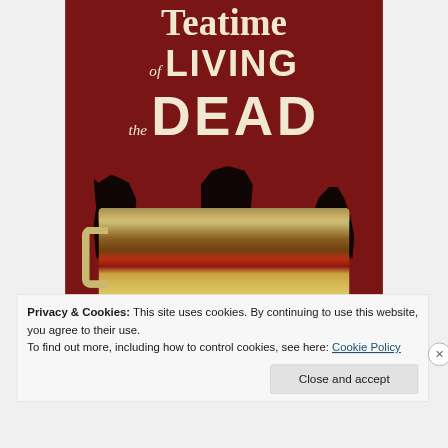[Figure (illustration): Book cover for 'Teatime of the Living Dead' showing zombie silhouettes on a dark red background with large bold text and a decorative ceramic mug in the foreground]
Privacy & Cookies: This site uses cookies. By continuing to use this website, you agree to their use.
To find out more, including how to control cookies, see here: Cookie Policy
Close and accept